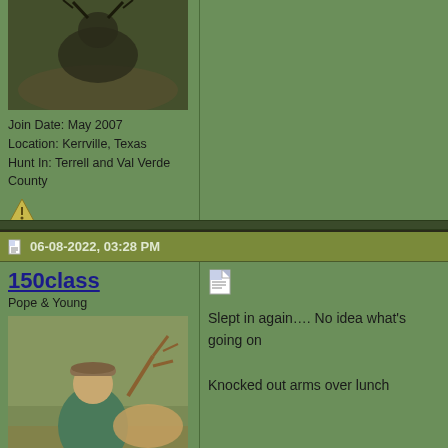[Figure (photo): Avatar photo showing a deer/mule deer close-up in rocky terrain]
Join Date: May 2007
Location: Kerrville, Texas
Hunt In: Terrell and Val Verde County
[Figure (photo): Small arrow/bow icon]
06-08-2022, 03:28 PM
150class
Pope & Young
[Figure (photo): Avatar photo of a man in a cap holding a deer with large antlers]
Join Date: Oct 2008
Location: The Woodlands
Hunt In: Uvalde, Boerne
[Figure (photo): Small document/reply icon]
Slept in again…. No idea what's going on

Knocked out arms over lunch